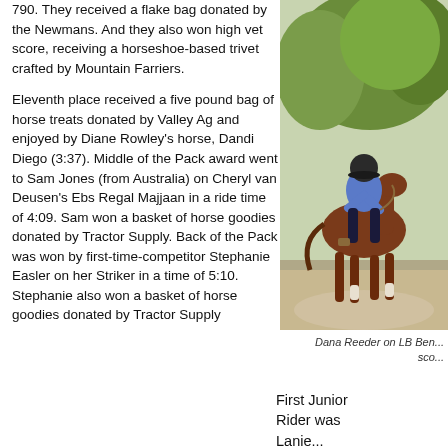790. They received a flake bag donated by the Newmans. And they also won high vet score, receiving a horseshoe-based trivet crafted by Mountain Farriers.
Eleventh place received a five pound bag of horse treats donated by Valley Ag and enjoyed by Diane Rowley's horse, Dandi Diego (3:37). Middle of the Pack award went to Sam Jones (from Australia) on Cheryl van Deusen's Ebs Regal Majjaan in a ride time of 4:09. Sam won a basket of horse goodies donated by Tractor Supply. Back of the Pack was won by first-time-competitor Stephanie Easler on her Striker in a time of 5:10. Stephanie also won a basket of horse goodies donated by Tractor Supply
[Figure (photo): A rider on a brown horse on a dirt path, with green trees in the background. The rider is wearing a blue shirt and dark pants.]
Dana Reeder on LB Ben... sco...
First Junior Rider was Lanie...